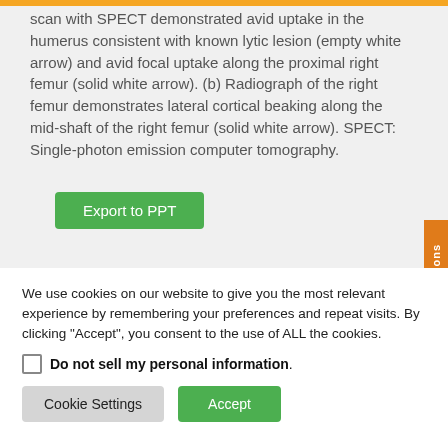scan with SPECT demonstrated avid uptake in the humerus consistent with known lytic lesion (empty white arrow) and avid focal uptake along the proximal right femur (solid white arrow). (b) Radiograph of the right femur demonstrates lateral cortical beaking along the mid-shaft of the right femur (solid white arrow). SPECT: Single-photon emission computer tomography.
We use cookies on our website to give you the most relevant experience by remembering your preferences and repeat visits. By clicking "Accept", you consent to the use of ALL the cookies.
Do not sell my personal information.